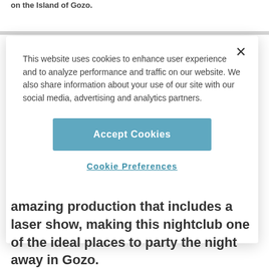on the Island of Gozo.
This website uses cookies to enhance user experience and to analyze performance and traffic on our website. We also share information about your use of our site with our social media, advertising and analytics partners.
Accept Cookies
Cookie Preferences
amazing production that includes a laser show, making this nightclub one of the ideal places to party the night away in Gozo.